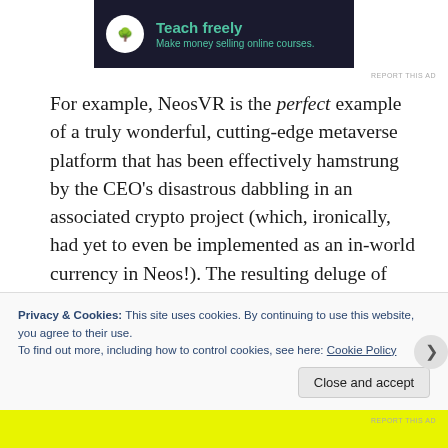[Figure (other): Advertisement banner with dark navy background, tree/bonsai icon in white circle, green text reading 'Teach freely' and 'Make money selling online courses.']
For example, NeosVR is the perfect example of a truly wonderful, cutting-edge metaverse platform that has been effectively hamstrung by the CEO's disastrous dabbling in an associated crypto project (which, ironically, had yet to even be implemented as an in-world currency in Neos!). The resulting deluge of attention of the cryptobros earlier this year completely changed the tenor of the Neos community, causing great divisiveness and conflict,
Privacy & Cookies: This site uses cookies. By continuing to use this website, you agree to their use.
To find out more, including how to control cookies, see here: Cookie Policy
Close and accept